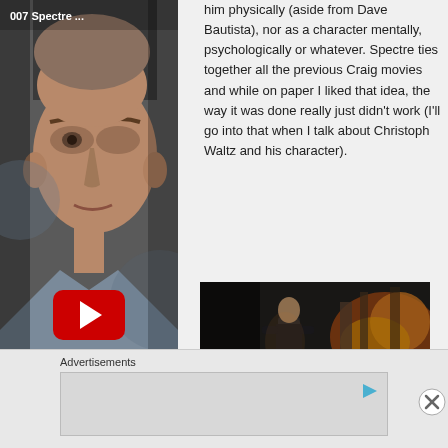[Figure (screenshot): YouTube video thumbnail showing close-up of Daniel Craig's face (007 Spectre) with red YouTube play button overlay]
him physically (aside from Dave Bautista), nor as a character mentally, psychologically or whatever. Spectre ties together all the previous Craig movies and while on paper I liked that idea, the way it was done really just didn't work (I'll go into that when I talk about Christoph Waltz and his character).
[Figure (screenshot): Movie still from Spectre showing Daniel Craig (Bond) standing in a dark scene with fire and destruction in the background]
Advertisements